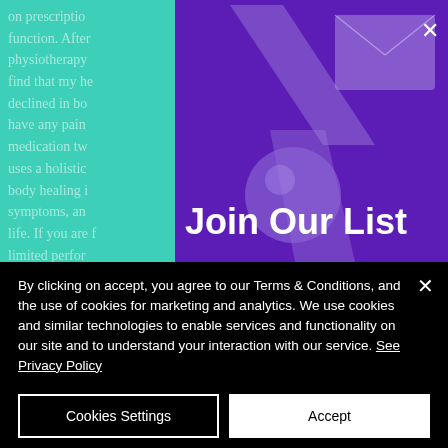on prescription function. After physiotherapy find that my he declined in bo have any pain medication tw uses a holistic body healing i symptoms, an life. If you are f limited perfor scheduling an
[Figure (illustration): Purple background with geometric glass/3D shapes: a diagonal arrow/lightning bolt shape, a rectangular envelope-like shape in upper right, and a sphere in lower center. White close X button in top right corner.]
Join Our List
By clicking on accept, you agree to our Terms & Conditions, and the use of cookies for marketing and analytics. We use cookies and similar technologies to enable services and functionality on our site and to understand your interaction with our service. See Privacy Policy
Cookies Settings
Accept